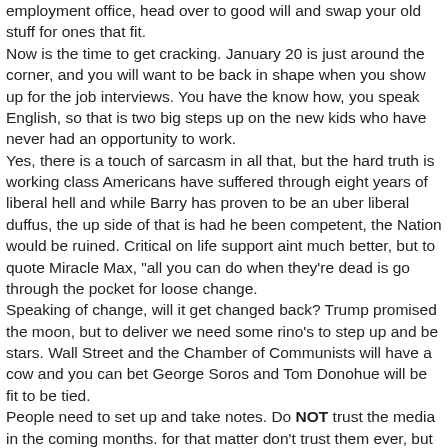employment office, head over to good will and swap your old stuff for ones that fit. Now is the time to get cracking. January 20 is just around the corner, and you will want to be back in shape when you show up for the job interviews. You have the know how, you speak English, so that is two big steps up on the new kids who have never had an opportunity to work. Yes, there is a touch of sarcasm in all that, but the hard truth is working class Americans have suffered through eight years of liberal hell and while Barry has proven to be an uber liberal duffus, the up side of that is had he been competent, the Nation would be ruined. Critical on life support aint much better, but to quote Miracle Max, "all you can do when they're dead is go through the pocket for loose change. Speaking of change, will it get changed back? Trump promised the moon, but to deliver we need some rino's to step up and be stars. Wall Street and the Chamber of Communists will have a cow and you can bet George Soros and Tom Donohue will be fit to be tied. People need to set up and take notes. Do NOT trust the media in the coming months. for that matter don't trust them ever, but the following months will be critical, and they will be